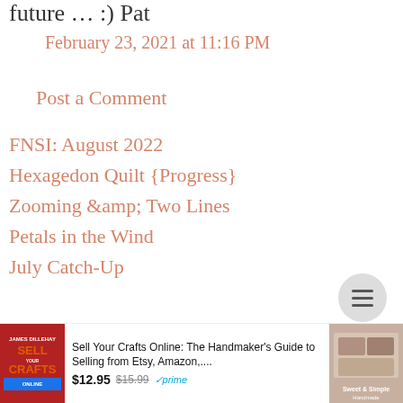future … :) Pat
February 23, 2021 at 11:16 PM
Post a Comment
FNSI: August 2022
Hexagedon Quilt {Progress}
Zooming &amp; Two Lines
Petals in the Wind
July Catch-Up
[Figure (other): Hamburger menu button (three horizontal lines in a circle)]
[Figure (other): Product advertisement bar: book cover for 'Sell Your Crafts Online' by James Dillehay, price $12.95 (was $15.99), Amazon Prime eligible, with a craft photo on the right.]